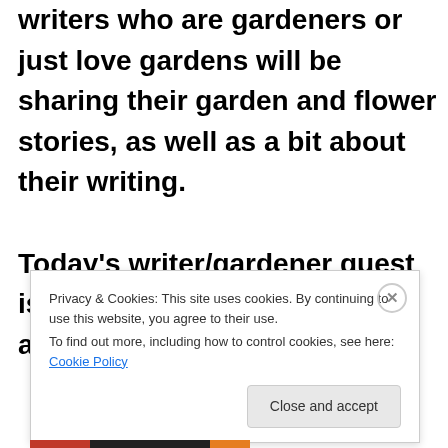writers who are gardeners or just love gardens will be sharing their garden and flower stories, as well as a bit about their writing.

Today's writer/gardener guest is Tema Banner who is talking about embracing
Privacy & Cookies: This site uses cookies. By continuing to use this website, you agree to their use.
To find out more, including how to control cookies, see here: Cookie Policy